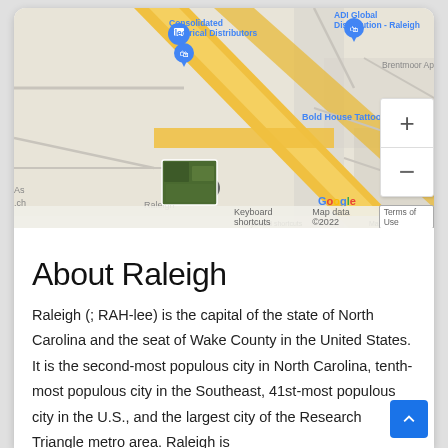[Figure (map): Google Maps screenshot showing area near Raleigh, NC with labels: Consolidated Electrical Distributors, ADI Global Distribution - Raleigh, Brentmoor Apartments, Bold House Tattoo, plus-minus zoom controls, Google logo, Keyboard shortcuts, Map data ©2022, Terms of Use]
About Raleigh
Raleigh (; RAH-lee) is the capital of the state of North Carolina and the seat of Wake County in the United States. It is the second-most populous city in North Carolina, tenth-most populous city in the Southeast, 41st-most populous city in the U.S., and the largest city of the Research Triangle metro area. Raleigh is